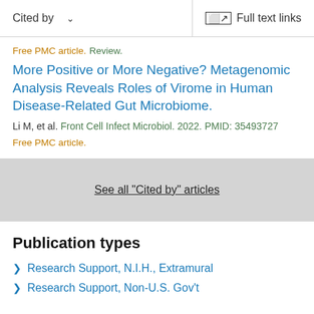Cited by   Full text links
Free PMC article. Review.
More Positive or More Negative? Metagenomic Analysis Reveals Roles of Virome in Human Disease-Related Gut Microbiome.
Li M, et al. Front Cell Infect Microbiol. 2022. PMID: 35493727
Free PMC article.
See all "Cited by" articles
Publication types
Research Support, N.I.H., Extramural
Research Support, Non-U.S. Gov't